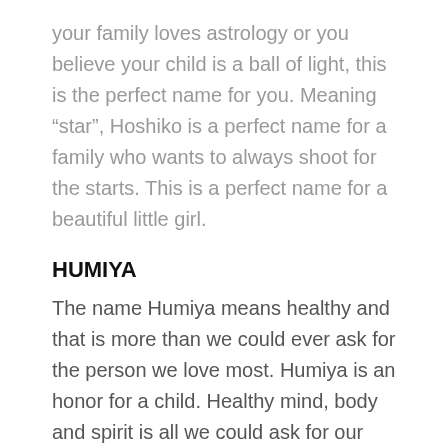your family loves astrology or you believe your child is a ball of light, this is the perfect name for you. Meaning “star”, Hoshiko is a perfect name for a family who wants to always shoot for the starts. This is a perfect name for a beautiful little girl.
HUMIYA
The name Humiya means healthy and that is more than we could ever ask for the person we love most. Humiya is an honor for a child. Healthy mind, body and spirit is all we could ask for our baby to start off their life and giving a namesake to your child like Humiya is a perfect start.